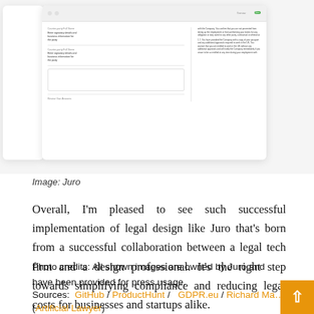[Figure (screenshot): Screenshot of Juro legal tech platform UI showing contract form fields and document text panel on right side]
Image: Juro
Overall, I'm pleased to see such successful implementation of legal design like Juro that's born from a successful collaboration between a legal tech firm and a design professional. It's the right step towards simplifying compliance and reducing legal costs for businesses and startups alike.
Photo credits: All shown images are owned by Juro and have been provided for press usage.
Sources:  GitHub / ProductHunt /   GDPR.eu / Richard Ma... (Artificial Lawyer)